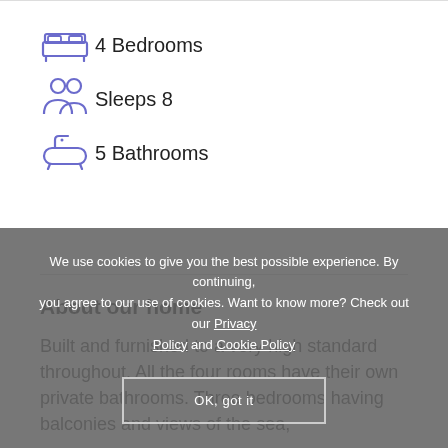4 Bedrooms
Sleeps 8
5 Bathrooms
About our home
Built and furnished to a very high standard throughout. All the four rooms have their own private bathrooms. Three bedrooms having balconies and views of the sea,
We use cookies to give you the best possible experience. By continuing, you agree to our use of cookies. Want to know more? Check out our Privacy Policy and Cookie Policy
OK, got it